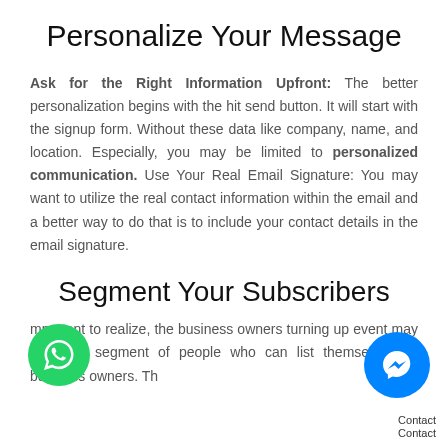Personalize Your Message
Ask for the Right Information Upfront: The better personalization begins with the hit send button. It will start with the signup form. Without these data like company, name, and location. Especially, you may be limited to personalized communication. Use Your Real Email Signature: You may want to utilize the real contact information within the email and a better way to do that is to include your contact details in the email signature.
Segment Your Subscribers
mportant to realize, the business owners turning up event may create a segment of people who can list themselves as business owners. Th